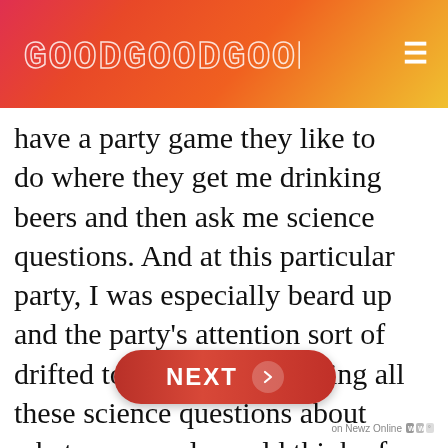GOODGOODGOOD
have a party game they like to do where they get me drinking beers and then ask me science questions. And at this particular party, I was especially beard up and the party's attention sort of drifted toward me, answering all these science questions about whatever people could think of. Like what happens in your stomach and in your brain when you eat a Taco. Right. stuff like that important questions, right. And one of my friends ... look at Science Mic.